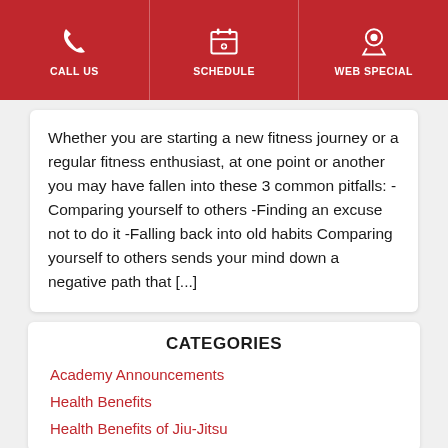CALL US | SCHEDULE | WEB SPECIAL
Whether you are starting a new fitness journey or a regular fitness enthusiast, at one point or another you may have fallen into these 3 common pitfalls: -Comparing yourself to others -Finding an excuse not to do it -Falling back into old habits Comparing yourself to others sends your mind down a negative path that [...]
CATEGORIES
Academy Announcements
Health Benefits
Health Benefits of Jiu-Jitsu